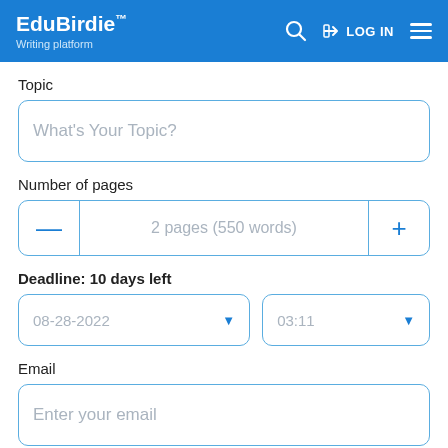EduBirdie™ Writing platform — LOG IN
Topic
What's Your Topic?
Number of pages
2 pages (550 words)
Deadline: 10 days left
08-28-2022
03:11
Email
Enter your email